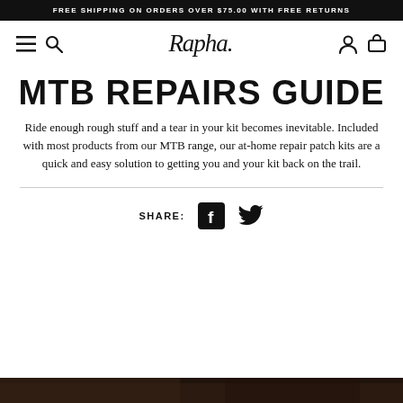FREE SHIPPING ON ORDERS OVER $75.00 WITH FREE RETURNS
[Figure (logo): Rapha brand logo in italic script with navigation icons (hamburger menu, search, account, cart)]
MTB REPAIRS GUIDE
Ride enough rough stuff and a tear in your kit becomes inevitable. Included with most products from our MTB range, our at-home repair patch kits are a quick and easy solution to getting you and your kit back on the trail.
[Figure (infographic): Share bar with Facebook and Twitter icons]
[Figure (photo): Dark nature/trail photo strip at bottom of page]